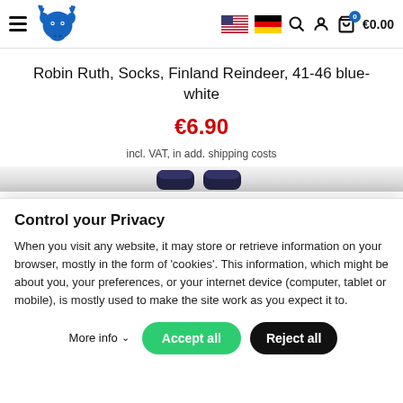Robin Ruth shop header with logo, flags, search, account, cart icons and €0.00
Robin Ruth, Socks, Finland Reindeer, 41-46 blue-white
€6.90
incl. VAT, in add. shipping costs
Control your Privacy
When you visit any website, it may store or retrieve information on your browser, mostly in the form of 'cookies'. This information, which might be about you, your preferences, or your internet device (computer, tablet or mobile), is mostly used to make the site work as you expect it to.
More info   Accept all   Reject all